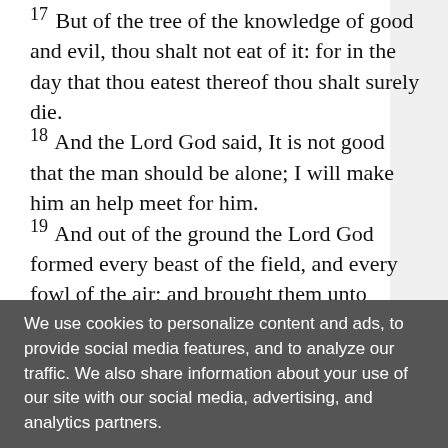17 But of the tree of the knowledge of good and evil, thou shalt not eat of it: for in the day that thou eatest thereof thou shalt surely die. 18 And the Lord God said, It is not good that the man should be alone; I will make him an help meet for him. 19 And out of the ground the Lord God formed every beast of the field, and every fowl of the air; and brought them unto Adam to see what he would call them: and whatsoever Adam called every living creature, that was the name thereof. 20 And Adam gave names to all cattle, and to the fowl of the air, and to every beast of the field; but for Adam there was not found an help meet for him.
We use cookies to personalize content and ads, to provide social media features, and to analyze our traffic. We also share information about your use of our site with our social media, advertising, and analytics partners.